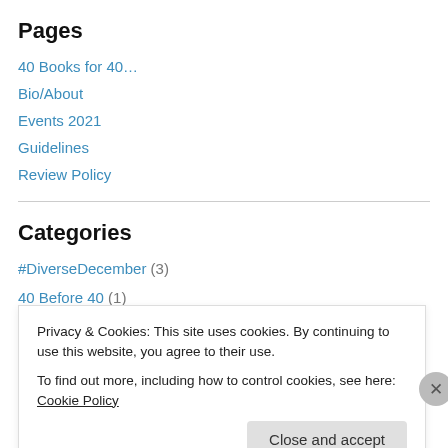Pages
40 Books for 40…
Bio/About
Events 2021
Guidelines
Review Policy
Categories
#DiverseDecember (3)
40 Before 40 (1)
4th Estate Books (4)
Privacy & Cookies: This site uses cookies. By continuing to use this website, you agree to their use.
To find out more, including how to control cookies, see here: Cookie Policy
Close and accept